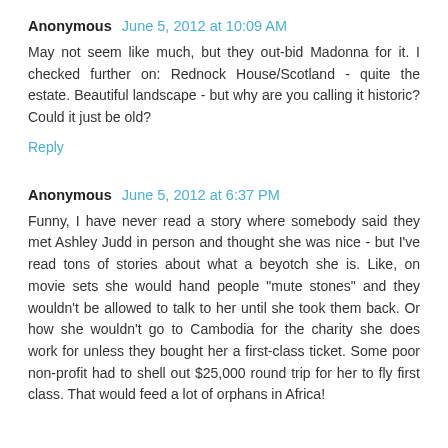Anonymous June 5, 2012 at 10:09 AM
May not seem like much, but they out-bid Madonna for it. I checked further on: Rednock House/Scotland - quite the estate. Beautiful landscape - but why are you calling it historic? Could it just be old?
Reply
Anonymous June 5, 2012 at 6:37 PM
Funny, I have never read a story where somebody said they met Ashley Judd in person and thought she was nice - but I've read tons of stories about what a beyotch she is. Like, on movie sets she would hand people "mute stones" and they wouldn't be allowed to talk to her until she took them back. Or how she wouldn't go to Cambodia for the charity she does work for unless they bought her a first-class ticket. Some poor non-profit had to shell out $25,000 round trip for her to fly first class. That would feed a lot of orphans in Africa!